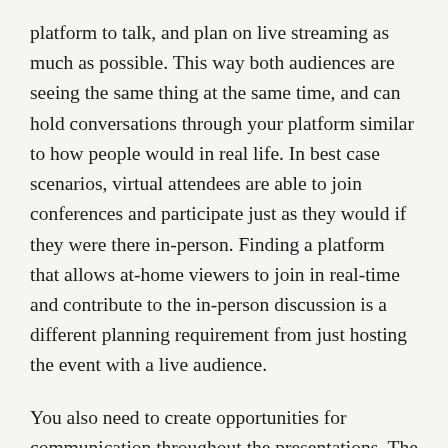platform to talk, and plan on live streaming as much as possible. This way both audiences are seeing the same thing at the same time, and can hold conversations through your platform similar to how people would in real life. In best case scenarios, virtual attendees are able to join conferences and participate just as they would if they were there in-person. Finding a platform that allows at-home viewers to join in real-time and contribute to the in-person discussion is a different planning requirement from just hosting the event with a live audience.
You also need to create opportunities for communication throughout the presentations. The attendees might not be able to whisper “Hey that’s a really good idea, we should try that,” to each other when divided by the internet, but you can provide platforms that foster real-time communication. These